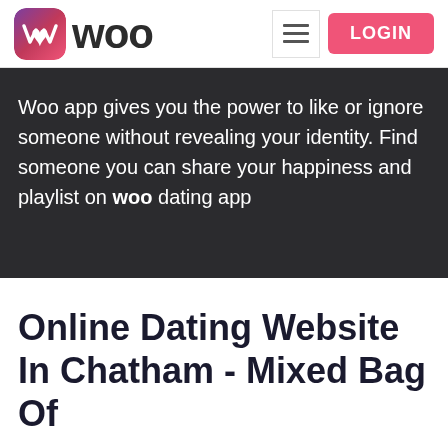woo | LOGIN
Woo app gives you the power to like or ignore someone without revealing your identity. Find someone you can share your happiness and playlist on woo dating app
Online Dating Website In Chatham - Mixed Bag Of